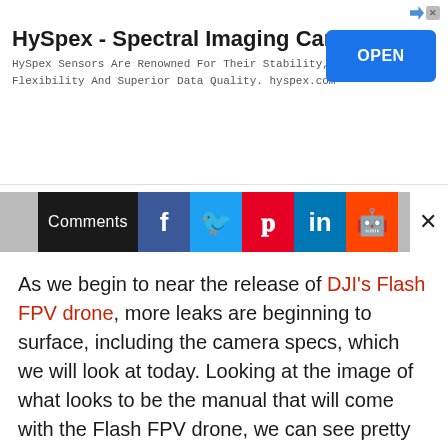[Figure (other): HySpex advertisement banner with title 'HySpex - Spectral Imaging Camera', subtitle text about sensors, and a blue OPEN button]
[Figure (other): Social sharing bar with Comments button and icons for Facebook, Twitter, Pinterest, LinkedIn, Reddit, and a close X button]
As we begin to near the release of DJI's Flash FPV drone, more leaks are beginning to surface, including the camera specs, which we will look at today. Looking at the image of what looks to be the manual that will come with the Flash FPV drone, we can see pretty much all of the important specs.